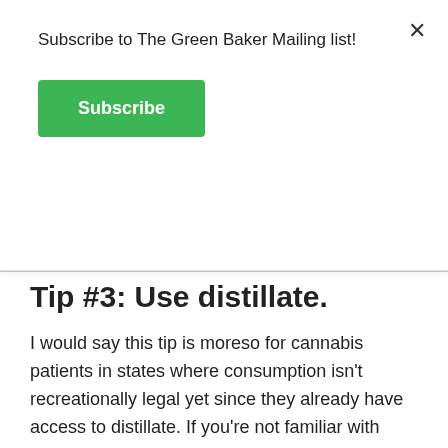Subscribe to The Green Baker Mailing list!
Subscribe
Tip #3: Use distillate.
I would say this tip is moreso for cannabis patients in states where consumption isn't recreationally legal yet since they already have access to distillate. If you're not familiar with what distillate is, it's basically a cannabis extract where THC is completely taken out of the flower and everything else has been stripped away as well (the chlorophyll, terpenes, and flavonoids, which